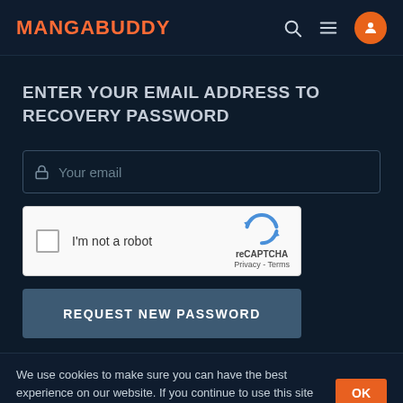MANGABUDDY
ENTER YOUR EMAIL ADDRESS TO RECOVERY PASSWORD
Your email
[Figure (other): reCAPTCHA widget with checkbox labeled 'I'm not a robot' and reCAPTCHA logo with Privacy and Terms links]
REQUEST NEW PASSWORD
We use cookies to make sure you can have the best experience on our website. If you continue to use this site we assume that you will be happy with it. OK